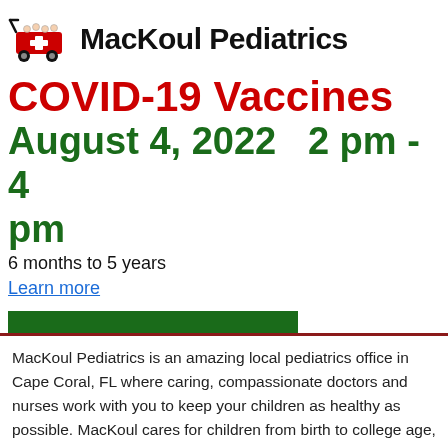MacKoul Pediatrics
COVID-19 Vaccines
August 4, 2022   2 pm - 4 pm
6 months to 5 years
Learn more
MacKoul Pediatrics is an amazing local pediatrics office in Cape Coral, FL where caring, compassionate doctors and nurses work with you to keep your children as healthy as possible. MacKoul cares for children from birth to college age, from Cape Coral, Fort Myers, Naples, and beyond.